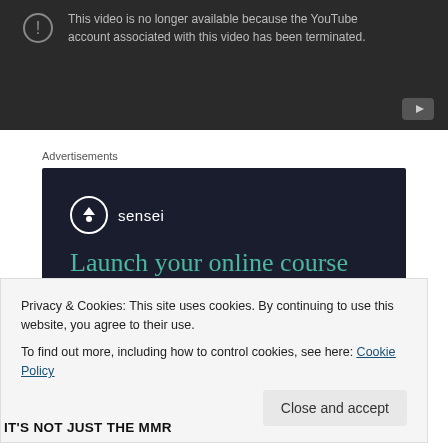[Figure (screenshot): Dark YouTube video player showing error message: This video is no longer available because the YouTube account associated with this video has been terminated. YouTube icon in bottom right corner.]
Advertisements
[Figure (screenshot): Sensei advertisement on dark navy background. Sensei logo (tree icon in circle) with brand name. Headline: Launch your online course with WordPress. Teal Learn More button.]
Privacy & Cookies: This site uses cookies. By continuing to use this website, you agree to their use.
To find out more, including how to control cookies, see here: Cookie Policy
Close and accept
IT'S NOT JUST THE MMR